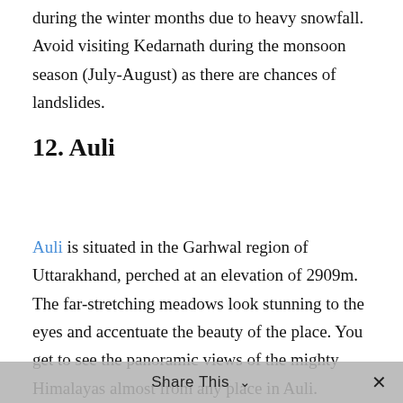during the winter months due to heavy snowfall. Avoid visiting Kedarnath during the monsoon season (July-August) as there are chances of landslides.
12. Auli
Auli is situated in the Garhwal region of Uttarakhand, perched at an elevation of 2909m. The far-stretching meadows look stunning to the eyes and accentuate the beauty of the place. You get to see the panoramic views of the mighty Himalayas almost from any place in Auli.
The forest that surrounds the village is full of tall trees like oak, deodars, coniferous, and pine. The
Share This ∨  ✕